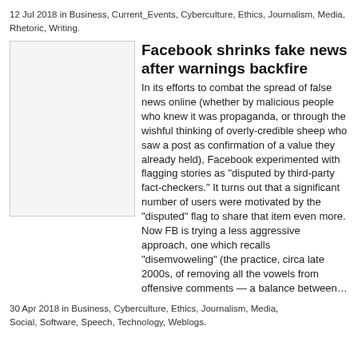12 Jul 2018 in Business, Current_Events, Cyberculture, Ethics, Journalism, Media, Rhetoric, Writing.
[Figure (photo): Blank/placeholder image for article thumbnail]
Facebook shrinks fake news after warnings backfire
In its efforts to combat the spread of false news online (whether by malicious people who knew it was propaganda, or through the wishful thinking of overly-credible sheep who saw a post as confirmation of a value they already held), Facebook experimented with flagging stories as “disputed by third-party fact-checkers.” It turns out that a significant number of users were motivated by the “disputed” flag to share that item even more. Now FB is trying a less aggressive approach, one which recalls “disemvoweling” (the practice, circa late 2000s, of removing all the vowels from offensive comments — a balance between…
30 Apr 2018 in Business, Cyberculture, Ethics, Journalism, Media, Social, Software, Speech, Technology, Weblogs.